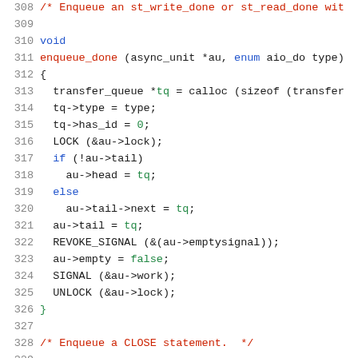[Figure (screenshot): C source code listing, lines 308-329, showing the enqueue_done function implementation with syntax highlighting. Comments in red/orange, keywords in blue, identifiers in dark, numeric/boolean literals in green.]